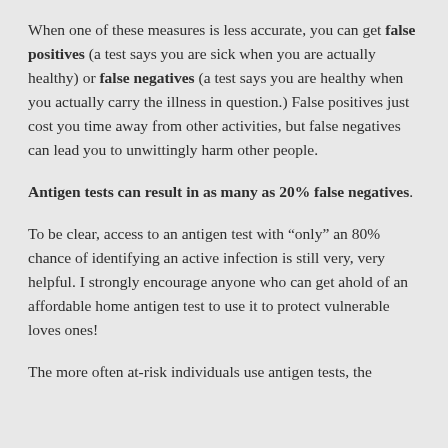When one of these measures is less accurate, you can get false positives (a test says you are sick when you are actually healthy) or false negatives (a test says you are healthy when you actually carry the illness in question.) False positives just cost you time away from other activities, but false negatives can lead you to unwittingly harm other people.
Antigen tests can result in as many as 20% false negatives.
To be clear, access to an antigen test with “only” an 80% chance of identifying an active infection is still very, very helpful. I strongly encourage anyone who can get ahold of an affordable home antigen test to use it to protect vulnerable loves ones!
The more often at-risk individuals use antigen tests, the